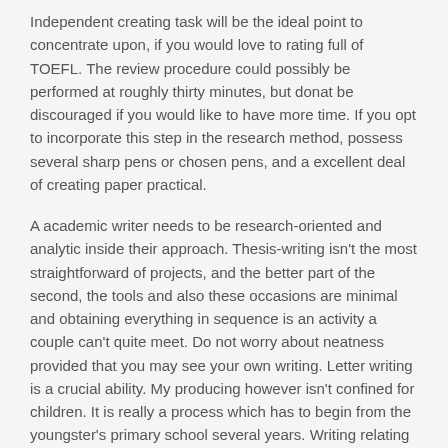Independent creating task will be the ideal point to concentrate upon, if you would love to rating full of TOEFL. The review procedure could possibly be performed at roughly thirty minutes, but donat be discouraged if you would like to have more time. If you opt to incorporate this step in the research method, possess several sharp pens or chosen pens, and a excellent deal of creating paper practical.
A academic writer needs to be research-oriented and analytic inside their approach. Thesis-writing isn't the most straightforward of projects, and the better part of the second, the tools and also these occasions are minimal and obtaining everything in sequence is an activity a couple can't quite meet. Do not worry about neatness provided that you may see your own writing. Letter writing is a crucial ability. My producing however isn't confined for children. It is really a process which has to begin from the youngster's primary school several years. Writing relating to participation into livelihood growth is essential plus it is rather important, since I mentioned at the exact top of their pulse.
A good understanding of English vocabulary and grammar is one area you'll need to score highly in these evaluations. Finding the best way exactly to write effectively is really a skill which could be